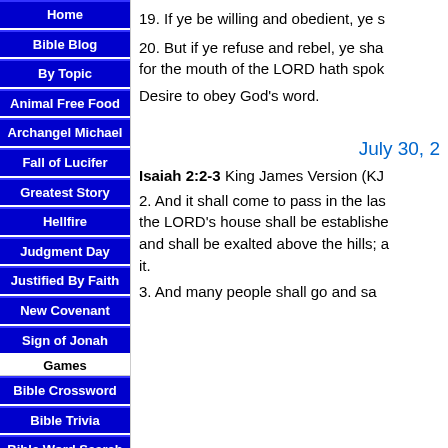Home
Bible Blog
By Topic
Animal Free Food
Archangel Michael
Fall of Lucifer
Greatest Story
Hellfire
Judgment Day
Justified By Faith
New Covenant
Sign of Jonah
Games
Bible Crossword
Bible Trivia
Bible Word Search
Quiz Games
19. If ye be willing and obedient, ye s
20. But if ye refuse and rebel, ye sha for the mouth of the LORD hath spok
Desire to obey God's word.
July 30, 2
Isaiah 2:2-3 King James Version (KJ
2. And it shall come to pass in the las the LORD's house shall be establishe and shall be exalted above the hills; a it.
3. And many people shall go and sa